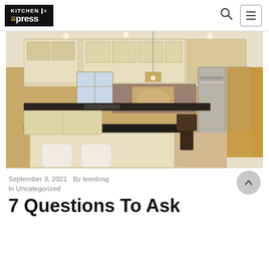Kitchen Express
[Figure (photo): Interior photo of a luxury kitchen with cream/beige cabinets, dark granite countertops, stainless steel refrigerator, decorative tile backsplash, pendant chandelier, and white upholstered bar stools in the foreground.]
September 3, 2021   By leenlong
In Uncategorized
7 Questions To Ask